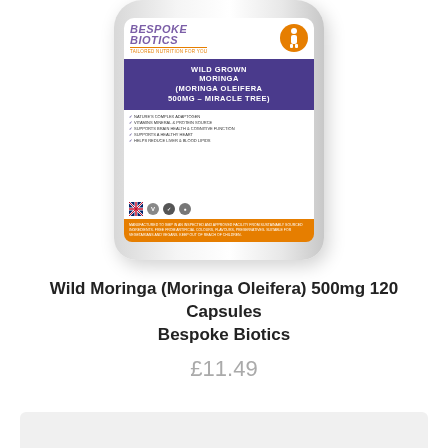[Figure (photo): Bespoke Biotics supplement bottle containing Wild Grown Moringa (Moringa Oleifera) 500mg - Miracle Tree capsules. White rounded bottle with label showing brand name, product name, bullet points about benefits, and icons.]
Wild Moringa (Moringa Oleifera) 500mg 120 Capsules Bespoke Biotics
£11.49